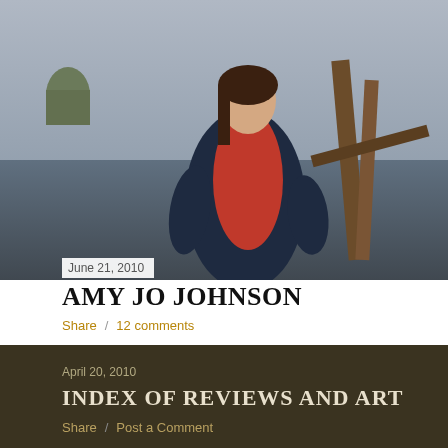[Figure (photo): Woman in dark jacket and red hoodie outdoors in a rustic setting]
June 21, 2010
AMY JO JOHNSON
Share  /  12 comments
April 20, 2010
INDEX OF REVIEWS AND ART
Share  /  Post a Comment